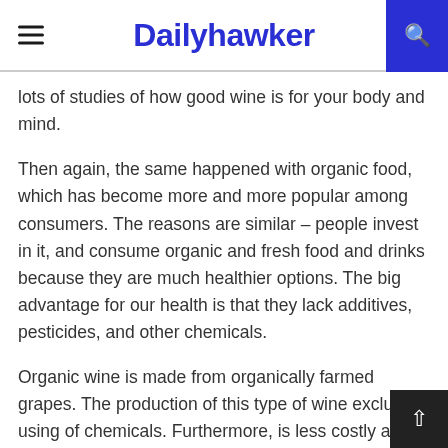Dailyhawker
lots of studies of how good wine is for your body and mind.
Then again, the same happened with organic food, which has become more and more popular among consumers. The reasons are similar – people invest in it, and consume organic and fresh food and drinks because they are much healthier options. The big advantage for our health is that they lack additives, pesticides, and other chemicals.
Organic wine is made from organically farmed grapes. The production of this type of wine excludes using of chemicals. Furthermore, is less costly and requires less labor.
This trend has become so popular that there even are top